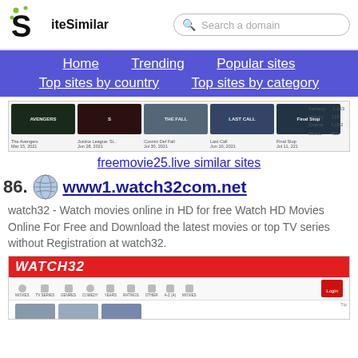SiteSimilar — Search a domain
Home   Trending   Popular sites   Top sites by country   Top sites by category
[Figure (screenshot): Screenshot thumbnail strip of freemovie25.live website showing movie posters]
freemovie25.live similar sites
86.  www1.watch32com.net
watch32 - Watch movies online in HD for free Watch HD Movies Online For Free and Download the latest movies or top TV series without Registration at watch32.
[Figure (screenshot): Screenshot of www1.watch32com.net showing WATCH32 logo in red header and navigation icons]